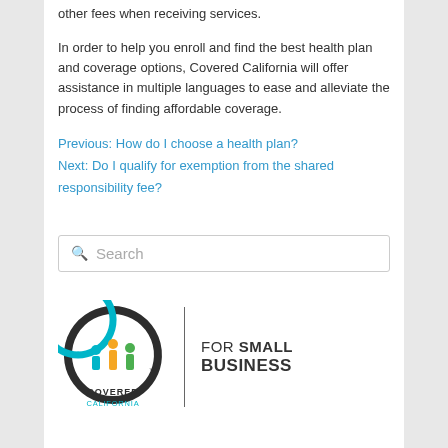other fees when receiving services.
In order to help you enroll and find the best health plan and coverage options, Covered California will offer assistance in multiple languages to ease and alleviate the process of finding affordable coverage.
Previous: How do I choose a health plan?
Next: Do I qualify for exemption from the shared responsibility fee?
[Figure (other): Search box with magnifying glass icon and placeholder text 'Search']
[Figure (logo): Covered California for Small Business logo — circular teal/dark logo with family figures, text 'COVERED CALIFORNIA' below, divider line, and 'FOR SMALL BUSINESS' text to the right]